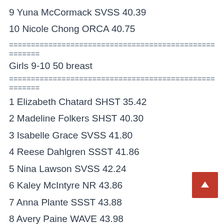9 Yuna McCormack SVSS 40.39
10 Nicole Chong ORCA 40.75
======================================================
Girls 9-10 50 breast
======================================================
1 Elizabeth Chatard SHST 35.42
2 Madeline Folkers SHST 40.30
3 Isabelle Grace SVSS 41.80
4 Reese Dahlgren SSST 41.86
5 Nina Lawson SVSS 42.24
6 Kaley McIntyre NR 43.86
7 Anna Plante SSST 43.88
8 Avery Paine WAVE 43.98
9 Lillian Gray RHS 44.51
10 Amira Wachelka SHST 44.60
======================================================